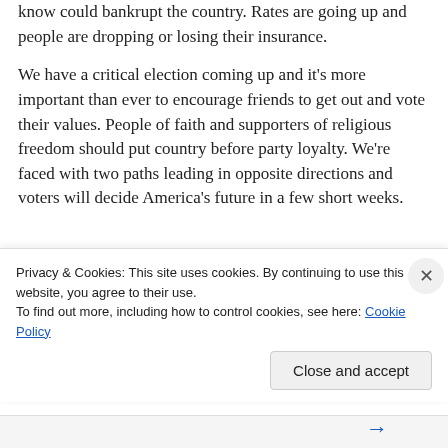know could bankrupt the country. Rates are going up and people are dropping or losing their insurance.
We have a critical election coming up and it's more important than ever to encourage friends to get out and vote their values. People of faith and supporters of religious freedom should put country before party loyalty. We're faced with two paths leading in opposite directions and voters will decide America's future in a few short weeks.
[Figure (photo): Row of four partially visible circular avatar photos of people]
Privacy & Cookies: This site uses cookies. By continuing to use this website, you agree to their use.
To find out more, including how to control cookies, see here: Cookie Policy
Close and accept